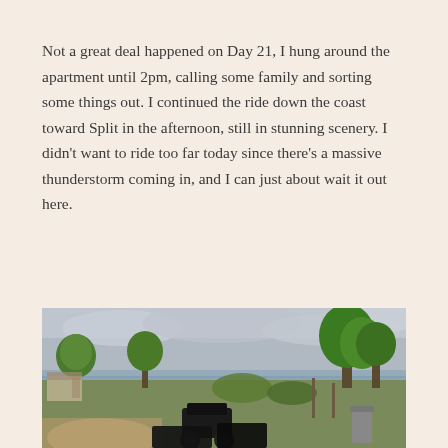[Figure (photo): Top edge of a photograph visible as a thin strip at the top of the page]
Not a great deal happened on Day 21, I hung around the apartment until 2pm, calling some family and sorting some things out. I continued the ride down the coast toward Split in the afternoon, still in stunning scenery. I didn't want to ride too far today since there's a massive thunderstorm coming in, and I can just about wait it out here.
[Figure (photo): Outdoor photograph showing a coastal scene with trees, overcast cloudy sky, a parked motorcycle in the foreground, green vegetation, a body of water in the background, and what appears to be a small building to the left.]